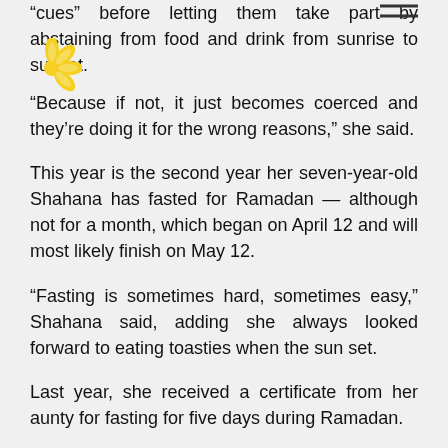“cues” before letting them take part by abstaining from food and drink from sunrise to sunset.
“Because if not, it just becomes coerced and they’re doing it for the wrong reasons,” she said.
This year is the second year her seven-year-old Shahana has fasted for Ramadan — although not for a month, which began on April 12 and will most likely finish on May 12.
“Fasting is sometimes hard, sometimes easy,” Shahana said, adding she always looked forward to eating toasties when the sun set.
Last year, she received a certificate from her aunty for fasting for five days during Ramadan.
This year Ms Gaffoor said her daughter had already fasted for eight days so far.